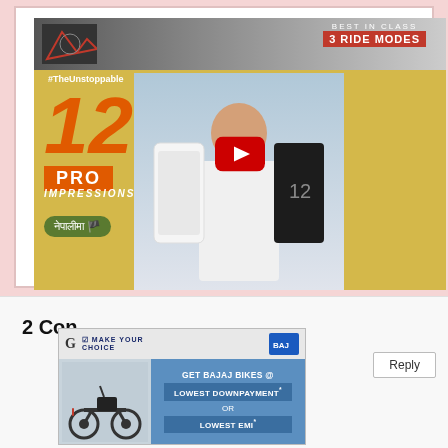[Figure (screenshot): YouTube video thumbnail for '12 Pro Impressions in Nepali' featuring a person holding two smartphones, with a motorcycle advertisement banner at top, orange '12' number, 'PRO IMPRESSIONS' text, Nepali flag badge, and YouTube play button overlay]
2 Con
[Figure (photo): Bajaj bikes advertisement overlay showing 'MAKE YOUR CHOICE', 'GET BAJAJ BIKES @ LOWEST DOWNPAYMENT* OR LOWEST EMI*' with a motorcycle image and Bajaj logo]
Reply